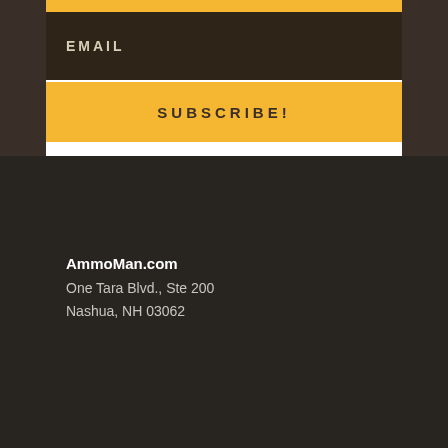EMAIL
SUBSCRIBE!
AmmoMan.com
One Tara Blvd., Ste 200
Nashua, NH 03062